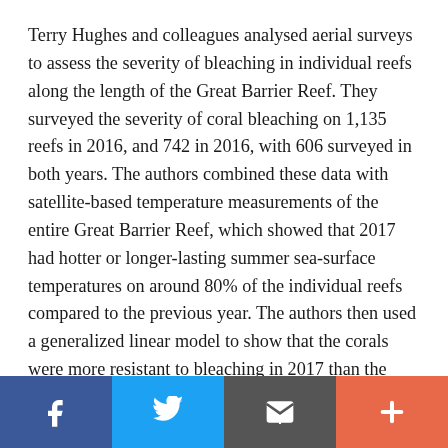Terry Hughes and colleagues analysed aerial surveys to assess the severity of bleaching in individual reefs along the length of the Great Barrier Reef. They surveyed the severity of coral bleaching on 1,135 reefs in 2016, and 742 in 2016, with 606 surveyed in both years. The authors combined these data with satellite-based temperature measurements of the entire Great Barrier Reef, which showed that 2017 had hotter or longer-lasting summer sea-surface temperatures on around 80% of the individual reefs compared to the previous year. The authors then used a generalized linear model to show that the corals were more resistant to bleaching in 2017 than the year before. Between the two events, severe bleaching affected two-thirds of the world's largest reef system.
f | bird icon | envelope icon | +